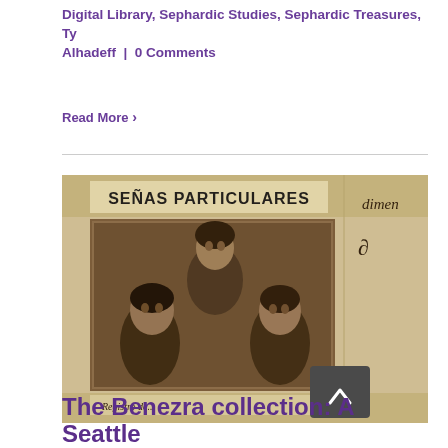Digital Library, Sephardic Studies, Sephardic Treasures, Ty Alhadeff | 0 Comments
Read More
[Figure (photo): A historical document showing 'SEÑAS PARTICULARES' header with a sepia-toned photograph of three people (one person standing behind two seated women), and partial text 'dimen' and cursive letters visible on the right side. At the bottom appears partial text 'Registro de...']
The Benezra collection: A Seattle